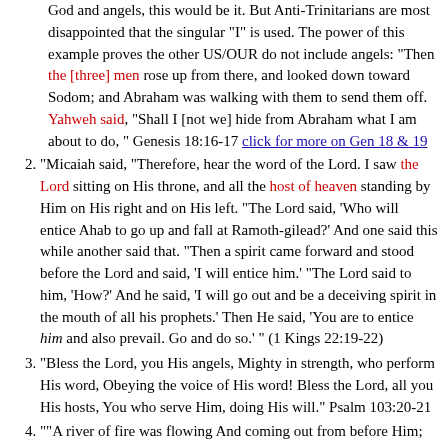God and angels, this would be it. But Anti-Trinitarians are most disappointed that the singular "I" is used. The power of this example proves the other US/OUR do not include angels: "Then the [three] men rose up from there, and looked down toward Sodom; and Abraham was walking with them to send them off. Yahweh said, "Shall I [not we] hide from Abraham what I am about to do, " Genesis 18:16-17 click for more on Gen 18 & 19
"Micaiah said, "Therefore, hear the word of the Lord. I saw the Lord sitting on His throne, and all the host of heaven standing by Him on His right and on His left. "The Lord said, 'Who will entice Ahab to go up and fall at Ramoth-gilead?' And one said this while another said that. "Then a spirit came forward and stood before the Lord and said, 'I will entice him.' "The Lord said to him, 'How?' And he said, 'I will go out and be a deceiving spirit in the mouth of all his prophets.' Then He said, 'You are to entice him and also prevail. Go and do so.' " (1 Kings 22:19-22)
"Bless the Lord, you His angels, Mighty in strength, who perform His word, Obeying the voice of His word! Bless the Lord, all you His hosts, You who serve Him, doing His will." Psalm 103:20-21
""A river of fire was flowing And coming out from before Him; Thousands upon thousands were attending Him, And myriads upon myriads were standing before Him; The court